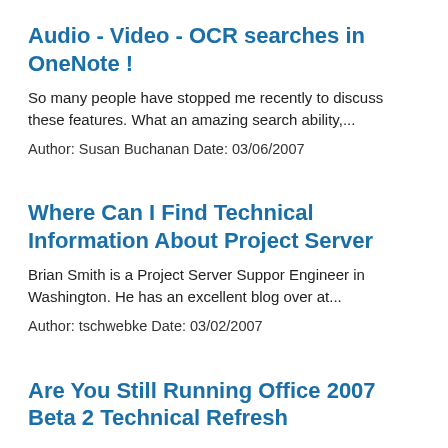Audio - Video - OCR searches in OneNote !
So many people have stopped me recently to discuss these features. What an amazing search ability,...
Author: Susan Buchanan Date: 03/06/2007
Where Can I Find Technical Information About Project Server
Brian Smith is a Project Server Suppor Engineer in Washington. He has an excellent blog over at...
Author: tschwebke Date: 03/02/2007
Are You Still Running Office 2007 Beta 2 Technical Refresh